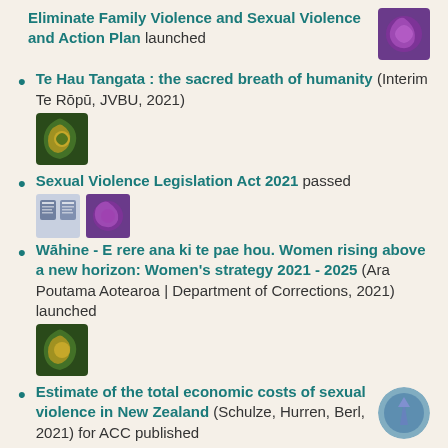Eliminate Family Violence and Sexual Violence and Action Plan launched
[Figure (illustration): Decorative purple swirl thumbnail image]
Te Hau Tangata : the sacred breath of humanity (Interim Te Rōpū, JVBU, 2021)
[Figure (illustration): Decorative green and gold koru thumbnail image]
Sexual Violence Legislation Act 2021 passed
[Figure (illustration): Two small book cover thumbnails]
Wāhine - E rere ana ki te pae hou. Women rising above a new horizon: Women's strategy 2021 - 2025 (Ara Poutama Aotearoa | Department of Corrections, 2021) launched
[Figure (illustration): Decorative green and gold koru thumbnail image]
Estimate of the total economic costs of sexual violence in New Zealand (Schulze, Hurren, Berl, 2021) for ACC published
[Figure (illustration): Purple and teal circular arrow icon thumbnail]
Hipokingia ki te Kahu Aroha Hipokingia ki te kahu...